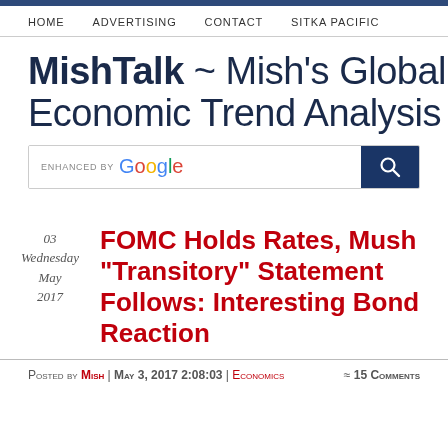HOME | ADVERTISING | CONTACT | SITKA PACIFIC
MishTalk ~ Mish's Global Economic Trend Analysis
[Figure (other): Google search bar with search button]
03 Wednesday May 2017
FOMC Holds Rates, Mush “Transitory” Statement Follows: Interesting Bond Reaction
Posted by Mish | May 3, 2017 2:08:03 | Economics ≈ 15 Comments